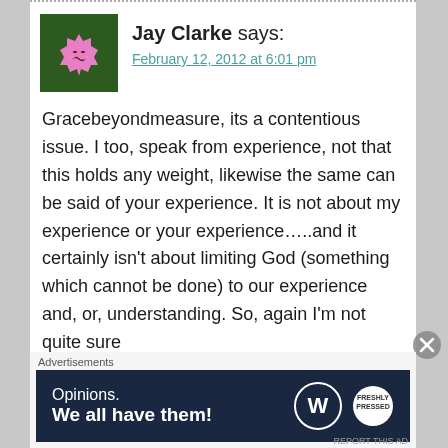[Figure (illustration): Avatar icon of Jay Clarke: a pink cartoon character on a dark green square background]
Jay Clarke says:
February 12, 2012 at 6:01 pm
Gracebeyondmeasure, its a contentious issue. I too, speak from experience, not that this holds any weight, likewise the same can be said of your experience. It is not about my experience or your experience…..and it certainly isn't about limiting God (something which cannot be done) to our experience and, or, understanding. So, again I'm not quite sure
Advertisements
[Figure (infographic): WordPress advertisement banner: dark navy background with text 'Opinions. We all have them!' and WordPress and Freshly Pressed logos on the right]